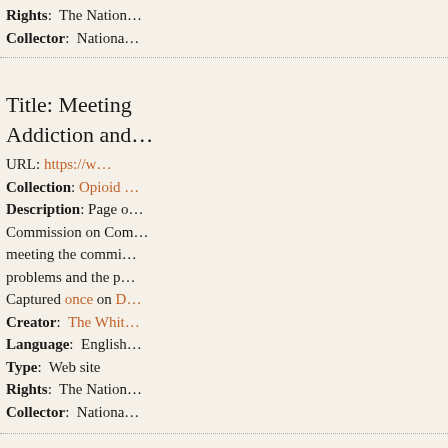Rights: The National... Collector: National...
Title: Meeting Addiction and...
URL: https://w...
Collection: Opioid... Description: Page o... Commission on Com... meeting the commi... problems and the p... Captured once on D... Creator: The Whit... Language: English Type: Web site Rights: The Nation... Collector: National...
Title: Meeting...
URL: https://w... commission/r...
Collection: Opioid... Description: Page o...